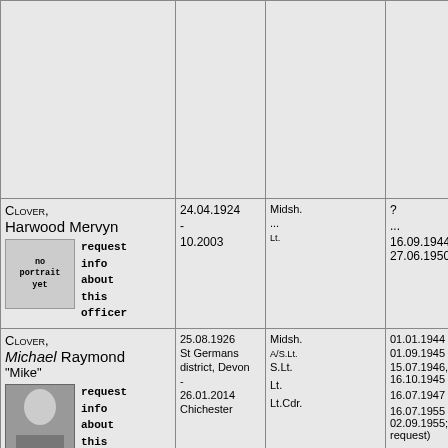| Name | Dates | Rank | Rank Date | Notes |
| --- | --- | --- | --- | --- |
| (empty row) | 18... |  |  |  |
| CLOVER, Harwood Mervyn
[no portrait yet] request info about this officer | 24.04.1924 - 10.2003 | Midsh.
...
Lt. | ?
...
16.09.1944 (Emgcy List 27.06.1950) | Edu 01.(
0 |
| CLOVER, Michael Raymond "Mike"
[photo]
request info about this officer
Son of ... Clover, and ...
Cowen.
Married ((09?).1956,
Marsham Church, Ashford | 25.08.1926
St Germans district, Devon
-
26.01.2014
Chichester | Midsh.
A/S.Lt.
S.Lt.
Lt.
Lt.Cdr. | 01.01.1944
01.09.1945
15.07.1946, seniority 16.10.1945
16.07.1947
16.07.1955 (retd 02.09.1955; own request) | Edu 01.
01 |